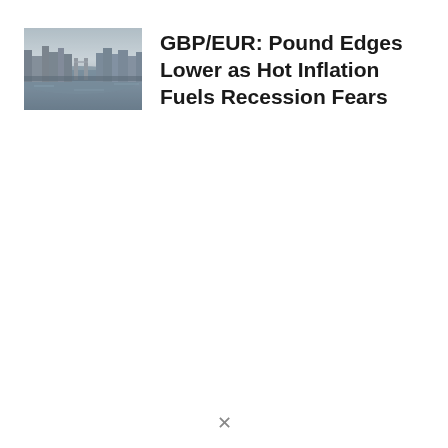[Figure (photo): Aerial photograph of London skyline showing the River Thames with Tower Bridge visible, taken from a high vantage point at dusk or dawn with muted colors]
GBP/EUR: Pound Edges Lower as Hot Inflation Fuels Recession Fears